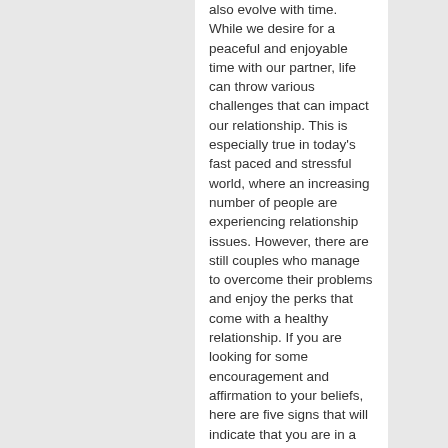also evolve with time. While we desire for a peaceful and enjoyable time with our partner, life can throw various challenges that can impact our relationship. This is especially true in today's fast paced and stressful world, where an increasing number of people are experiencing relationship issues. However, there are still couples who manage to overcome their problems and enjoy the perks that come with a healthy relationship. If you are looking for some encouragement and affirmation to your beliefs, here are five signs that will indicate that you are in a healthyrelationship.
You fully trust each other: Trust is one of the primary pillars supporting your relationship. In a healthy relationship, there won't be any secrets or hidden agenda. You will feel okay to share everything with your partner including